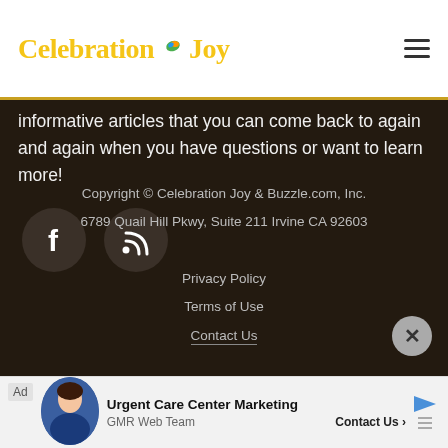CelebrationJoy
informative articles that you can come back to again and again when you have questions or want to learn more!
[Figure (illustration): Two dark circular social media icons: Facebook (f) and RSS feed on a dark brown background]
Copyright © Celebration Joy & Buzzle.com, Inc.
6789 Quail Hill Pkwy, Suite 211 Irvine CA 92603
Privacy Policy
Terms of Use
Contact Us
[Figure (infographic): Advertisement bar at the bottom: Ad label, woman photo, Urgent Care Center Marketing, GMR Web Team, Contact Us]